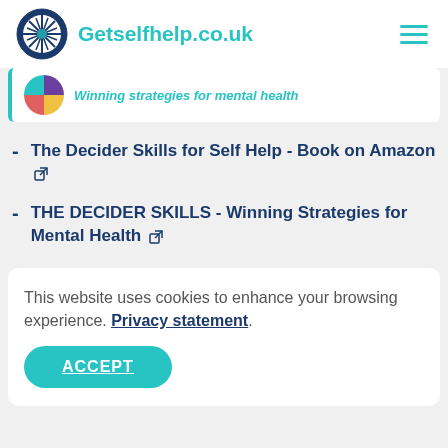Getselfhelp.co.uk
[Figure (logo): Partial book/product card showing a circular logo with purple, yellow, red sections and the text 'Winning strategies for mental health' in teal italic]
The Decider Skills for Self Help - Book on Amazon [external link]
THE DECIDER SKILLS - Winning Strategies for Mental Health [external link]
This website uses cookies to enhance your browsing experience. Privacy statement. ACCEPT